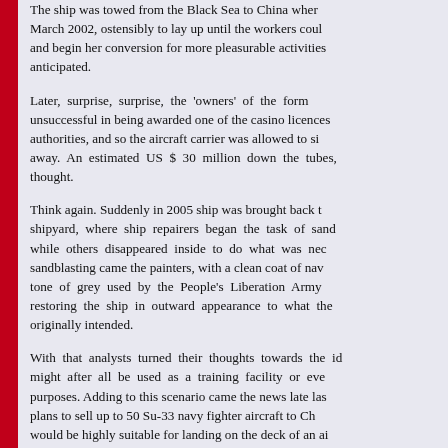The ship was towed from the Black Sea to China where in March 2002, ostensibly to lay up until the workers could and begin her conversion for more pleasurable activities than anticipated.
Later, surprise, surprise, the 'owners' of the former unsuccessful in being awarded one of the casino licences authorities, and so the aircraft carrier was allowed to sit away. An estimated US $ 30 million down the tubes, thought.
Think again. Suddenly in 2005 ship was brought back to shipyard, where ship repairers began the task of sandblasting while others disappeared inside to do what was necessary. After sandblasting came the painters, with a clean coat of navy tone of grey used by the People's Liberation Army Navy, restoring the ship in outward appearance to what the builders originally intended.
With that analysts turned their thoughts towards the idea that it might after all be used as a training facility or even for military purposes. Adding to this scenario came the news late last year of plans to sell up to 50 Su-33 navy fighter aircraft to China which would be highly suitable for landing on the deck of an aircraft carrier such as the former VARYAG.